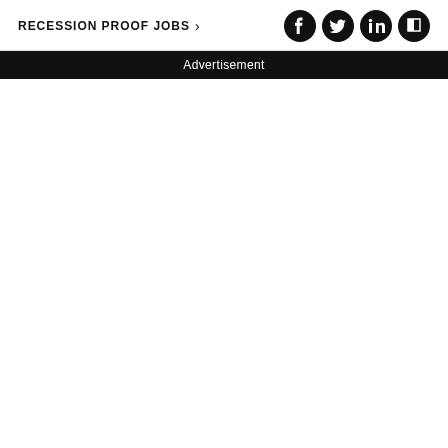RECESSION PROOF JOBS ›
[Figure (other): Social media icons: Facebook, Twitter, LinkedIn, Flipboard — circular black icons in a row]
Advertisement